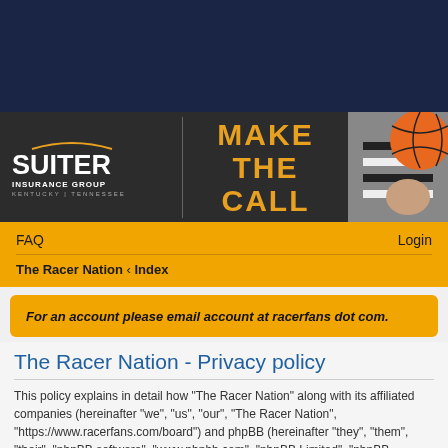[Figure (illustration): Dark navy blue header banner background]
[Figure (illustration): Suiter Insurance Group advertisement banner with dark background, logo on left, 'MAKE THE CALL' text in orange in center, and basketball referee photograph on right]
FAQ
Login
The Racer Nation ‹ Index
For an account please email account at racerfans dot com.
The Racer Nation - Privacy policy
This policy explains in detail how “The Racer Nation” along with its affiliated companies (hereinafter “we”, “us”, “our”, “The Racer Nation”, “https://www.racerfans.com/board”) and phpBB (hereinafter “they”, “them”, “their”, “phpBB software”, “www.phpbb.com”, “phpBB Limited”, “phpBB Teams”)